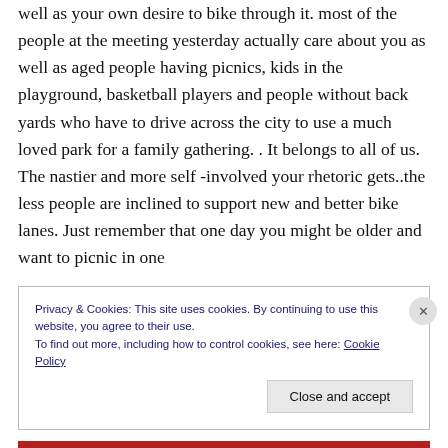well as your own desire to bike through it. most of the people at the meeting yesterday actually care about you as well as aged people having picnics, kids in the playground, basketball players and people without back yards who have to drive across the city to use a much loved park for a family gathering. . It belongs to all of us. The nastier and more self -involved your rhetoric gets..the less people are inclined to support new and better bike lanes. Just remember that one day you might be older and want to picnic in one
Privacy & Cookies: This site uses cookies. By continuing to use this website, you agree to their use.
To find out more, including how to control cookies, see here: Cookie Policy